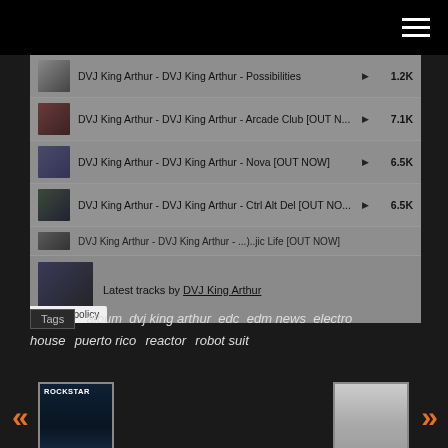[Figure (screenshot): Music player widget showing DVJ King Arthur tracks list with play counts]
DVJ King Arthur - DVJ King Arthur - Possibilities ▶ 1.2K
DVJ King Arthur - DVJ King Arthur - Arcade Club [OUT N... ▶ 7.1K
DVJ King Arthur - DVJ King Arthur - Nova [OUT NOW] ▶ 6.5K
DVJ King Arthur - DVJ King Arthur - Ctrl Alt Del [OUT NO... ▶ 6.5K
Latest tracks by DVJ King Arthur
Privacy policy
Tags  album  dvj king arthur  edc  edm news  electro house  puerto rico  reactor  robot suit
[Figure (photo): Rockstar album cover - navigation previous]
ANGER WITH
[Figure (photo): Sidney Samson photo - navigation next]
SIDNEY SAMSON INTERVIEW